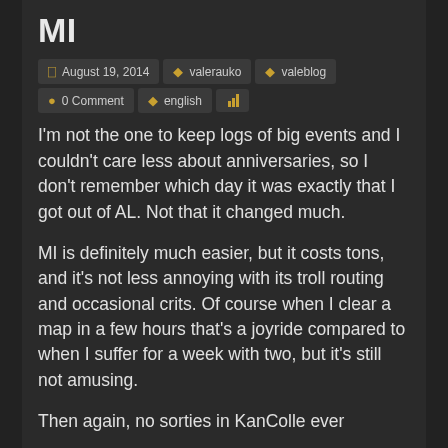MI
August 19, 2014  valerauko  valeblog
0 Comment  english
I'm not the one to keep logs of big events and I couldn't care less about anniversaries, so I don't remember which day it was exactly that I got out of AL. Not that it changed much.
MI is definitely much easier, but it costs tons, and it's not less annoying with its troll routing and occasional crits. Of course when I clear a map in a few hours that's a joyride compared to when I suffer for a week with two, but it's still not amusing.
Then again, no sorties in KanColle ever